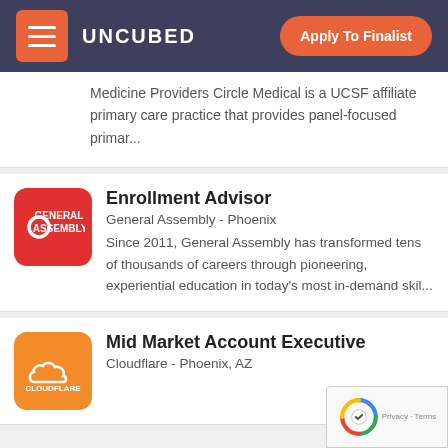UNCUBED  Apply To Finalist
Medicine Providers Circle Medical is a UCSF affiliate primary care practice that provides panel-focused primar...
Enrollment Advisor
General Assembly - Phoenix
Since 2011, General Assembly has transformed tens of thousands of careers through pioneering, experiential education in today's most in-demand skil...
Mid Market Account Executive
Cloudflare - Phoenix, AZ